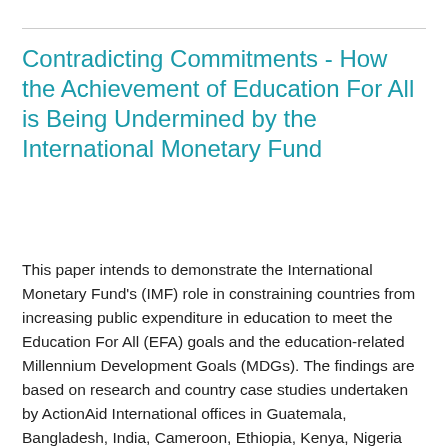Contradicting Commitments - How the Achievement of Education For All is Being Undermined by the International Monetary Fund
This paper intends to demonstrate the International Monetary Fund's (IMF) role in constraining countries from increasing public expenditure in education to meet the Education For All (EFA) goals and the education-related Millennium Development Goals (MDGs). The findings are based on research and country case studies undertaken by ActionAid International offices in Guatemala, Bangladesh, India, Cameroon, Ethiopia, Kenya, Nigeria and Sierra Leone during 2004-05. These findings are